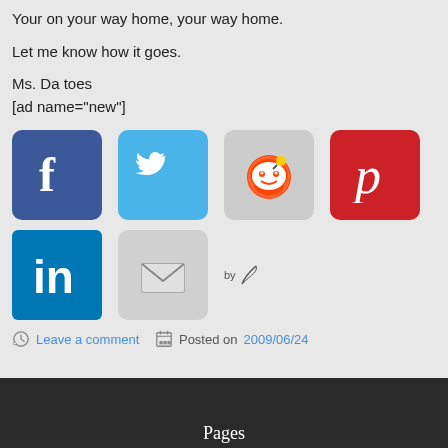Your on your way home, your way home.
Let me know how it goes.
Ms. Da toes
[ad name="new"]
[Figure (other): Row of social media share icons: Facebook, Twitter, Reddit, Pinterest]
[Figure (other): Row of social media share icons: LinkedIn, Email, and 'by' feather attribution]
Leave a comment   Posted on 2009/06/24
Pages